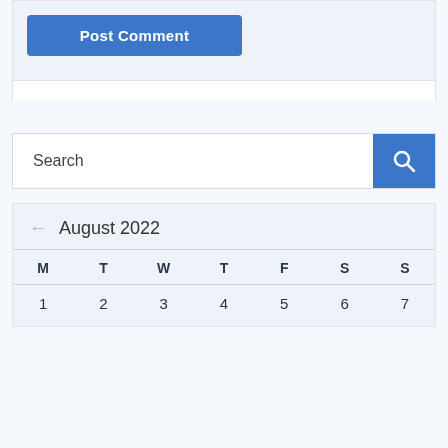[Figure (screenshot): Post Comment button (blue, white text)]
[Figure (screenshot): Search input field with blue search icon button]
| M | T | W | T | F | S | S |
| --- | --- | --- | --- | --- | --- | --- |
| 1 | 2 | 3 | 4 | 5 | 6 | 7 |